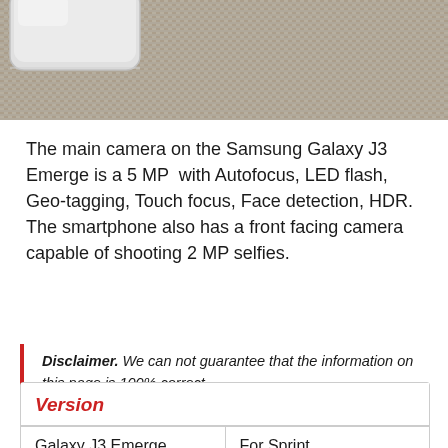[Figure (photo): Top portion of a Samsung Galaxy J3 Emerge smartphone resting on a woven textile/fabric surface, showing the top edge and corner of the device.]
The main camera on the Samsung Galaxy J3 Emerge is a 5 MP  with Autofocus, LED flash, Geo-tagging, Touch focus, Face detection, HDR. The smartphone also has a front facing camera capable of shooting 2 MP selfies.
Disclaimer. We can not guarantee that the information on this page is 100% correct.
| Version |  |
| --- | --- |
| Galaxy J3 Emerge | For Sprint |